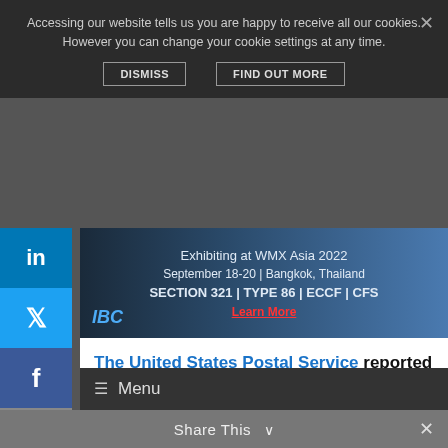Accessing our website tells us you are happy to receive all our cookies. However you can change your cookie settings at any time.
DISMISS   FIND OUT MORE
[Figure (illustration): IBC advertising banner: Exhibiting at WMX Asia 2022, September 18-20 | Bangkok, Thailand, SECTION 321 | TYPE 86 | ECCF | CFS, Learn More]
Menu
The United States Postal Service reported new service delivery performance metrics showing service performance holding for First-Class Mail, Marketing Mail and Periodicals through the first ten weeks of the fiscal first quarter.
Share This ∨